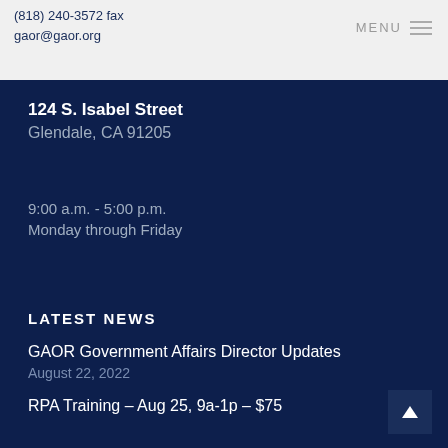(818) 240-3572 fax
gaor@gaor.org
MENU
124 S. Isabel Street
Glendale, CA 91205
9:00 a.m. - 5:00 p.m.
Monday through Friday
LATEST NEWS
GAOR Government Affairs Director Updates
August 22, 2022
RPA Training – Aug 25, 9a-1p – $75